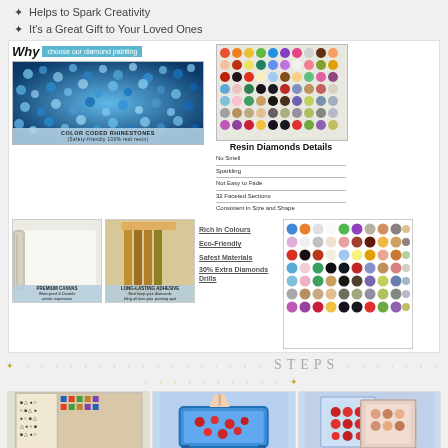✦ Helps to Spark Creativity
✦ It's a Great Gift to Your Loved Ones
[Figure (infographic): Diamond painting infographic showing 'Why choose our diamond painting' with rhinestone photo, resin diamonds details with color coded rhinestones, canvas/pen images, features list (Rich In Colours, Eco-Friendly, Safest Materials, 30% Extra Diamonds Drills), and a grid of colored resin diamond dots]
STEPS
[Figure (infographic): Step-by-step diamond painting instructions: Step 1 - Match the symbol to the color code, Step 2 - Pour the diamonds to the tray, Step 3 - Shake gently until aligned, plus three bottom images showing application steps]